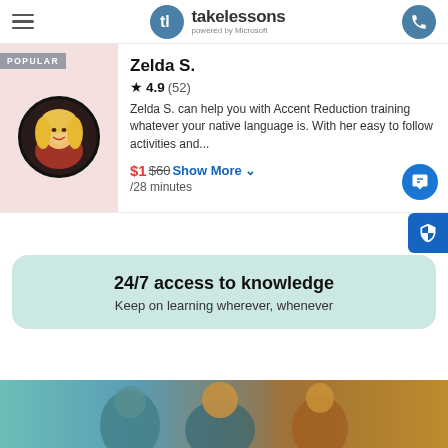takelessons powered by Microsoft
[Figure (photo): Tutor profile card for Zelda S. with photo, rating 4.9 (52 reviews), description about Accent Reduction training, price $1 (was $60) per 28 minutes]
24/7 access to knowledge
Keep on learning wherever, whenever
[Figure (photo): Photo strip showing people learning]